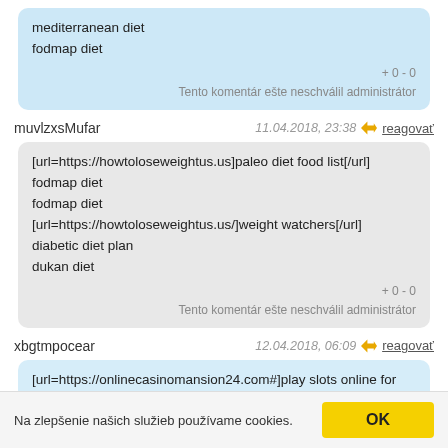mediterranean diet
fodmap diet
+ 0 - 0
Tento komentár ešte neschválil administrátor
muvlzxsMufar    11.04.2018, 23:38   reagovať
[url=https://howtoloseweightus.us]paleo diet food list[/url]
fodmap diet
fodmap diet
[url=https://howtoloseweightus.us/]weight watchers[/url]
diabetic diet plan
dukan diet
+ 0 - 0
Tento komentár ešte neschválil administrátor
xbgtmpocear    12.04.2018, 06:09   reagovať
[url=https://onlinecasinomansion24.com#]play slots online for money[/url]
casinos online gambling
Na zlepšenie našich služieb používame cookies.